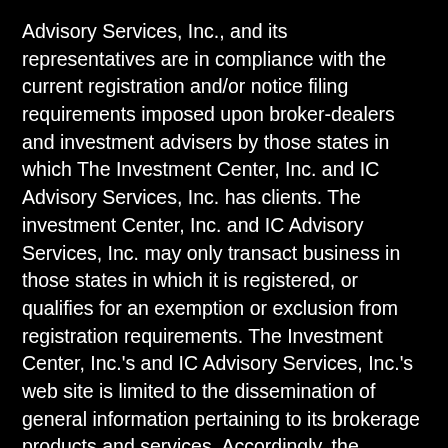Advisory Services, Inc., and its representatives are in compliance with the current registration and/or notice filing requirements imposed upon broker-dealers and investment advisers by those states in which The Investment Center, Inc. and IC Advisory Services, Inc. has clients. The investment Center, Inc. and IC Advisory Services, Inc. may only transact business in those states in which it is registered, or qualifies for an exemption or exclusion from registration requirements. The Investment Center, Inc.'s and IC Advisory Services, Inc.'s web site is limited to the dissemination of general information pertaining to its brokerage products and services. Accordingly, the publication of The Investment Center, Inc. and IC Advisory Services Inc.'s web site on the Internet should not be construed by any consumer and/or prospective client as the Investment Center Inc.'s or IC Advisory Services, Inc.'s solicitation to effect or attempt to effect transactions in securities, or the rendering of personalized investment advice for compensation, over the Internet. Any subsequent, direct communication by the Investment